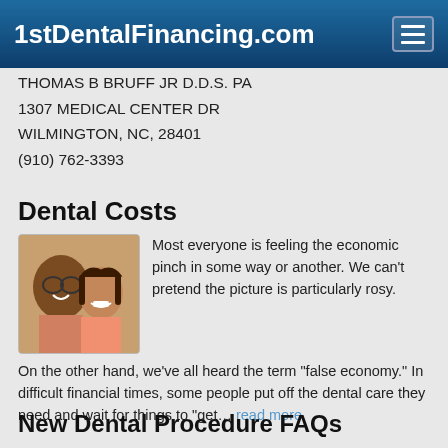1stDentalFinancing.com
THOMAS B BRUFF JR D.D.S. PA
1307 MEDICAL CENTER DR
WILMINGTON, NC, 28401
(910) 762-3393
Dental Costs
Most everyone is feeling the economic pinch in some way or another. We can't pretend the picture is particularly rosy.

On the other hand, we've all heard the term "false economy." In difficult financial times, some people put off the dental care they need and wait for things to "get... read more
New Dental Procedure FAQs
Q. What is the new technology dentists are using that reduces or eliminates discomfort from shots given during a dental procedure